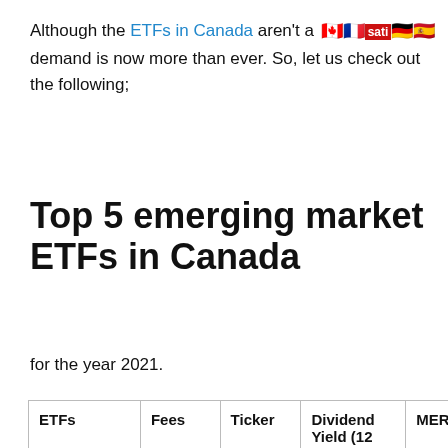Although the ETFs in Canada aren't a [flags/satil] demand is now more than ever. So, let us check out the following;
Top 5 emerging market ETFs in Canada
for the year 2021.
| ETFs | Fees | Ticker | Dividend Yield (12 Months) | MER | As U... M... |
| --- | --- | --- | --- | --- | --- |